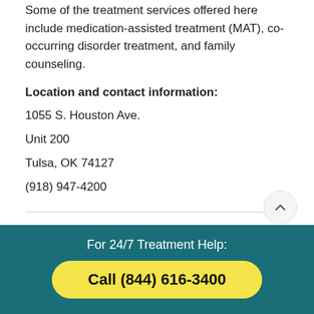Some of the treatment services offered here include medication-assisted treatment (MAT), co-occurring disorder treatment, and family counseling.
Location and contact information:
1055 S. Houston Ave.
Unit 200
Tulsa, OK 74127
(918) 947-4200
3. Firstep Women's Recovery
For 24/7 Treatment Help:
Call (844) 616-3400